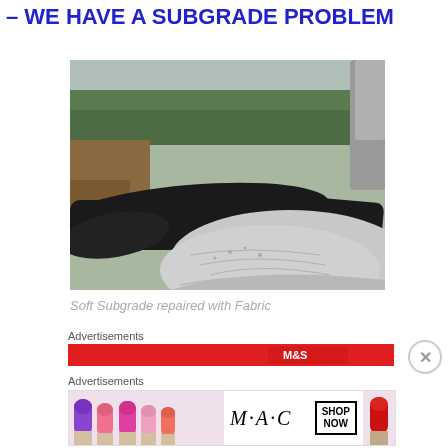– WE HAVE A SUBGRADE PROBLEM
[Figure (photo): Construction site photo showing soft subgrade repair with geotextile fabric laid on ground and gravel aggregate being poured over it, with trees and vegetation in background.]
Soft Subgrade repaired with Fabric
Advertisements
[Figure (photo): Red advertisement banner with partial logo/text visible]
Advertisements
[Figure (photo): MAC Cosmetics advertisement banner showing lipsticks on left side and right side with MAC logo and SHOP NOW button in center]